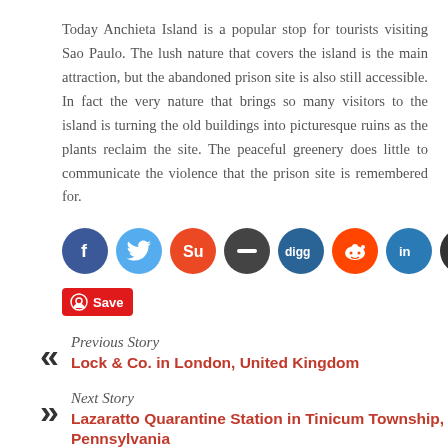Today Anchieta Island is a popular stop for tourists visiting Sao Paulo. The lush nature that covers the island is the main attraction, but the abandoned prison site is also still accessible. In fact the very nature that brings so many visitors to the island is turning the old buildings into picturesque ruins as the plants reclaim the site. The peaceful greenery does little to communicate the violence that the prison site is remembered for.
[Figure (infographic): Row of social media share buttons: Facebook (blue circle), Twitter (light blue circle), StumbleUpon (orange circle), minus/dash (dark grey circle), Digg (teal circle with 'digg' text), Reddit (orange-red circle), LinkedIn (teal circle), Google+ (dark grey circle). Below: a red Pinterest Save button.]
Previous Story
Lock & Co. in London, United Kingdom
Next Story
Lazaratto Quarantine Station in Tinicum Township, Pennsylvania